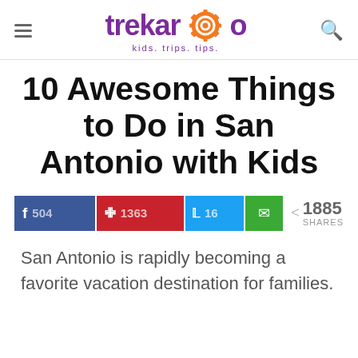trekaroo — kids. trips. tips.
10 Awesome Things to Do in San Antonio with Kids
[Figure (infographic): Social sharing buttons: Facebook 504, Pinterest 1363, Twitter 16, Email; total 1885 SHARES]
San Antonio is rapidly becoming a favorite vacation destination for families.